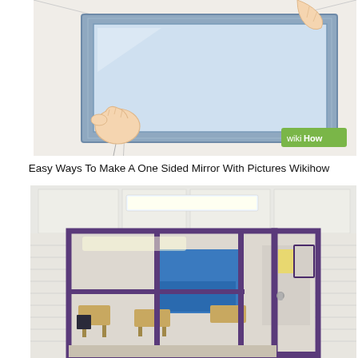[Figure (illustration): WikiHow illustration showing a hand pulling a thin film/sheet away from a window frame with a blue border. The window is shown in a room with light-colored walls. A 'wikiHow' logo badge appears in the bottom right corner of the illustration.]
Easy Ways To Make A One Sided Mirror With Pictures Wikihow
[Figure (photo): Photograph of a school hallway showing a classroom with large windows/glass panels framed in dark purple/violet metal frames. The classroom interior is visible through the glass, showing student desks, chairs, a blue bulletin board, and ceiling fluorescent lights. White brick walls flank the glass panels. A door with a silver handle is visible on the right side.]